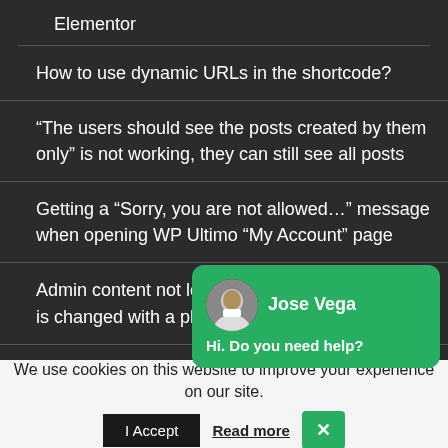Elementor
How to use dynamic URLs in the shortcode?
“The users should see the posts created by them only” is not working, they can still see all posts
Getting a “Sorry, you are not allowed…” message when opening WP Ultimo “My Account” page
Admin content not loading when wp-admin slug is changed with a plugin
[Figure (illustration): Chat widget with avatar of Jose Vega and message 'Hi. Do you need help?']
We use cookies on this website to improve your experience on our site.
I Accept | Read more | X